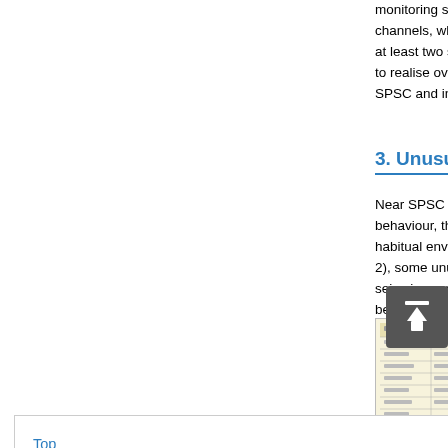monitoring several sub-io channels, which is a nece at least two signals. Addit to realise overlapping [12 SPSC and in the Biglione
3. Unusual Anima
Near SPSC there are sev behaviour, the animal la habitual environment. Wh 2), some unusual animal seismic event, with behaviours were o was also a progres
Top
ABSTRACT
Introduction
Observations
Unusual Animal Behaviour before Earthquakes
Acknowledgements
REFERENCES
[Figure (table-as-image): Partial view of a data table with rows and columns, cream/yellow background]